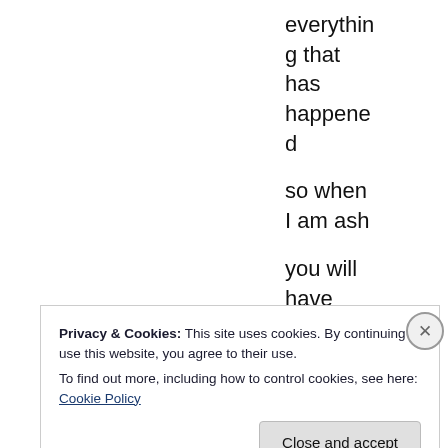everything that has happened

so when I am ash

you will have
Privacy & Cookies: This site uses cookies. By continuing to use this website, you agree to their use.
To find out more, including how to control cookies, see here: Cookie Policy